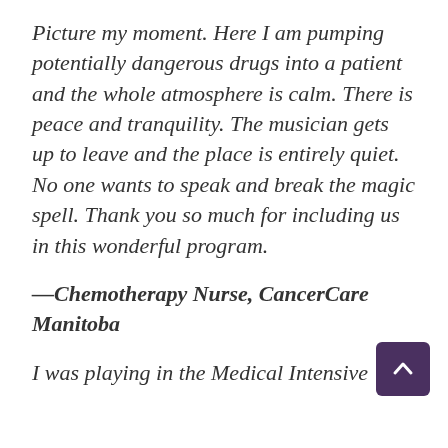Picture my moment. Here I am pumping potentially dangerous drugs into a patient and the whole atmosphere is calm. There is peace and tranquility. The musician gets up to leave and the place is entirely quiet. No one wants to speak and break the magic spell. Thank you so much for including us in this wonderful program.
—Chemotherapy Nurse, CancerCare Manitoba
I was playing in the Medical Intensive